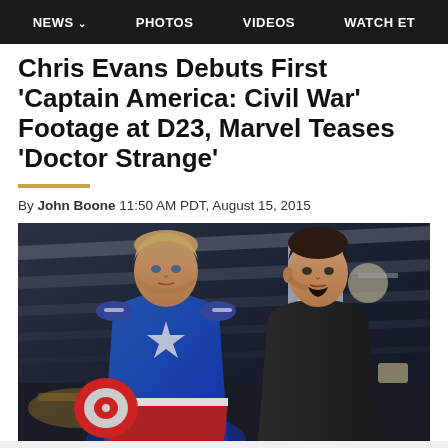NEWS  PHOTOS  VIDEOS  WATCH ET
Chris Evans Debuts First 'Captain America: Civil War' Footage at D23, Marvel Teases 'Doctor Strange'
By John Boone 11:50 AM PDT, August 15, 2015
[Figure (photo): Chris Evans as Captain America in blue suit with star emblem, and Robert Downey Jr. as Tony Stark in dark shirt, standing together in what appears to be a lab/workshop setting]